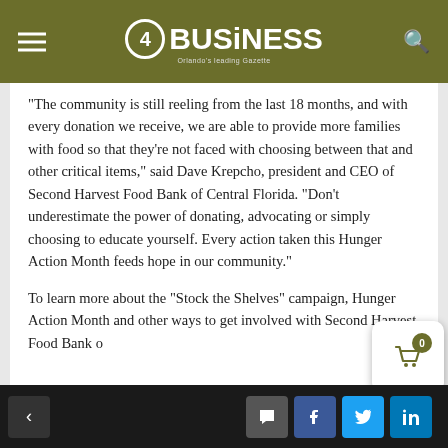4BUSiNESS
“The community is still reeling from the last 18 months, and with every donation we receive, we are able to provide more families with food so that they’re not faced with choosing between that and other critical items,” said Dave Krepcho, president and CEO of Second Harvest Food Bank of Central Florida. “Don’t underestimate the power of donating, advocating or simply choosing to educate yourself. Every action taken this Hunger Action Month feeds hope in our community.”
To learn more about the “Stock the Shelves” campaign, Hunger Action Month and other ways to get involved with Second Harvest Food Bank o…